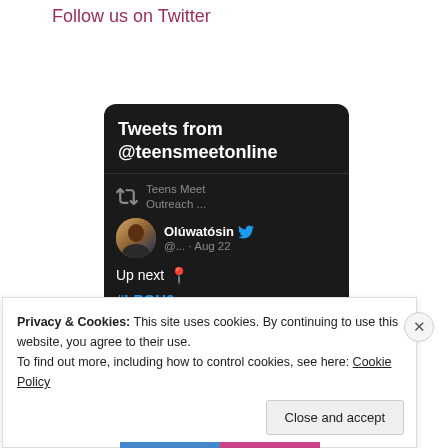Follow us on Twitter
[Figure (screenshot): Twitter widget showing tweets from @teensmeetonline. Contains a retweet by 'Teens Meet Outreach ...' and a tweet by Olúwatósin (@... · Aug 22) with text 'Up next 📍' and hashtag '#LPOH6'.]
Privacy & Cookies: This site uses cookies. By continuing to use this website, you agree to their use.
To find out more, including how to control cookies, see here: Cookie Policy
Close and accept